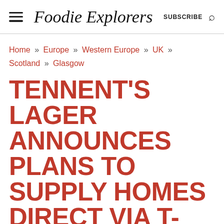Foodie Explorers | SUBSCRIBE
Home » Europe » Western Europe » UK » Scotland » Glasgow
TENNENT'S LAGER ANNOUNCES PLANS TO SUPPLY HOMES DIRECT VIA T-